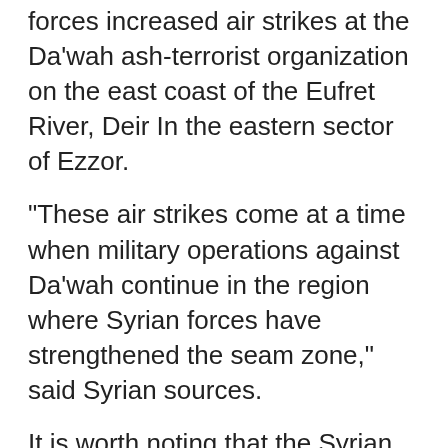forces increased air strikes at the Da'wah ash-terrorist organization on the east coast of the Eufret River, Deir In the eastern sector of Ezzor.
"These air strikes come at a time when military operations against Da'wah continue in the region where Syrian forces have strengthened the seam zone," said Syrian sources.
It is worth noting that the Syrian democratic forces had previously announced that they would halt the "storm" campaign against the duel against Turkish bombings and the Kurdish defense units east of Euphrates.
Thank you for reading the news on Syrian sources: The International Federation raises its strikes at "Dahesh" east of Euphrates, East 365, and informs you that the content of the subject was written and quoted in the seventh day, , and read and follow the innovators of this news from the main sources of the following link: Seventh D...